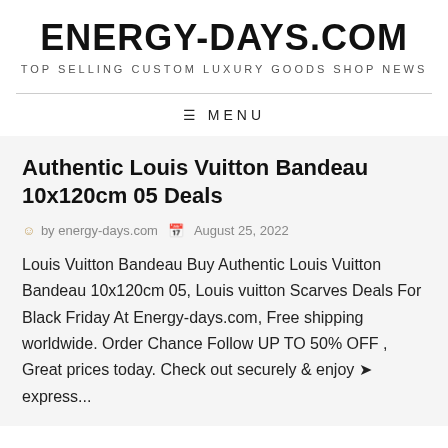ENERGY-DAYS.COM
TOP SELLING CUSTOM LUXURY GOODS SHOP NEWS
≡ MENU
Authentic Louis Vuitton Bandeau 10x120cm 05 Deals
by energy-days.com  August 25, 2022
Louis Vuitton Bandeau Buy Authentic Louis Vuitton Bandeau 10x120cm 05, Louis vuitton Scarves Deals For Black Friday At Energy-days.com, Free shipping worldwide. Order Chance Follow UP TO 50% OFF , Great prices today. Check out securely & enjoy ➔ express...